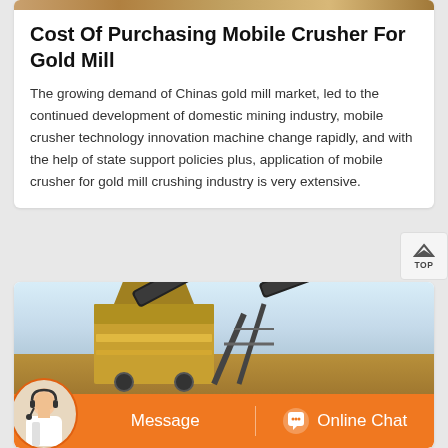[Figure (photo): Top strip of machinery/gold mill image, partially cropped at top of page]
Cost Of Purchasing Mobile Crusher For Gold Mill
The growing demand of Chinas gold mill market, led to the continued development of domestic mining industry, mobile crusher technology innovation machine change rapidly, and with the help of state support policies plus, application of mobile crusher for gold mill crushing industry is very extensive.
[Figure (photo): Industrial mobile crusher machinery with conveyor belts against sky background, with customer service chat bar overlay at bottom showing Message and Online Chat buttons]